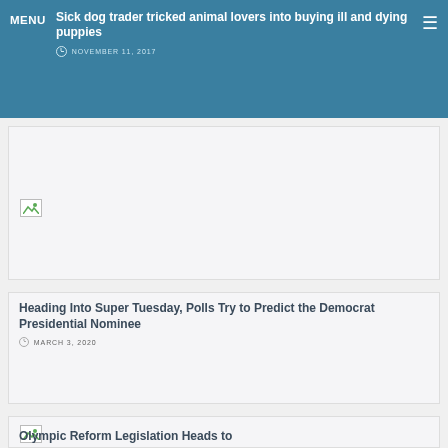MENU | Sick dog trader tricked animal lovers into buying ill and dying puppies | NOVEMBER 11, 2017
[Figure (photo): Broken image placeholder for article 1]
Heading Into Super Tuesday, Polls Try to Predict the Democrat Presidential Nominee
MARCH 3, 2020
[Figure (photo): Broken image placeholder for article 3]
Olympic Reform Legislation Heads to